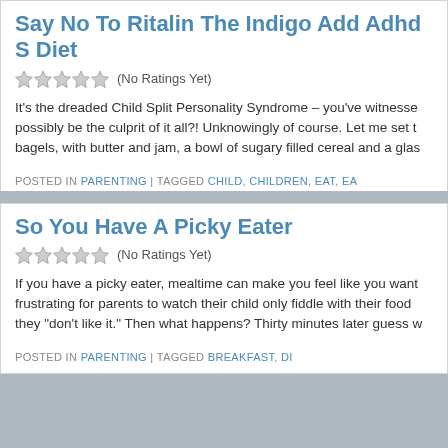Say No To Ritalin The Indigo Add Adhd S Diet
(No Ratings Yet)
It's the dreaded Child Split Personality Syndrome – you've witnessed possibly be the culprit of it all?! Unknowingly of course. Let me set t bagels, with butter and jam, a bowl of sugary filled cereal and a glas
POSTED IN PARENTING | TAGGED CHILD, CHILDREN, EAT, EA
So You Have A Picky Eater
(No Ratings Yet)
If you have a picky eater, mealtime can make you feel like you want frustrating for parents to watch their child only fiddle with their food they "don't like it." Then what happens? Thirty minutes later guess w
POSTED IN PARENTING | TAGGED BREAKFAST, DI